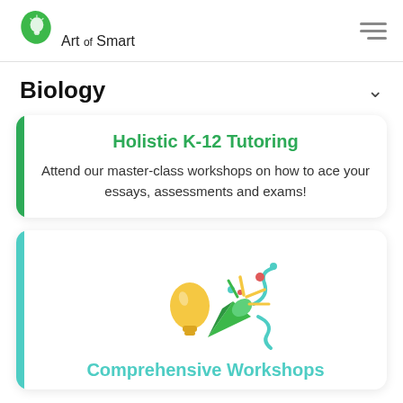[Figure (logo): Art of Smart logo: green leaf with lightbulb icon, text 'Art of Smart']
Biology
Holistic K-12 Tutoring
Attend our master-class workshops on how to ace your essays, assessments and exams!
[Figure (illustration): Celebration illustration: yellow light bulb with party popper, colorful confetti streamers in teal, red, yellow, green]
Comprehensive Workshops